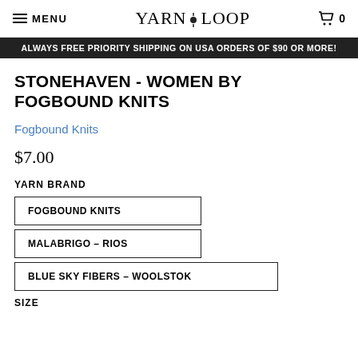MENU | YARN LOOP | 0
ALWAYS FREE PRIORITY SHIPPING ON USA ORDERS OF $90 OR MORE!
STONEHAVEN - WOMEN BY FOGBOUND KNITS
Fogbound Knits
$7.00
YARN BRAND
FOGBOUND KNITS
MALABRIGO – RIOS
BLUE SKY FIBERS – WOOLSTOK
SIZE